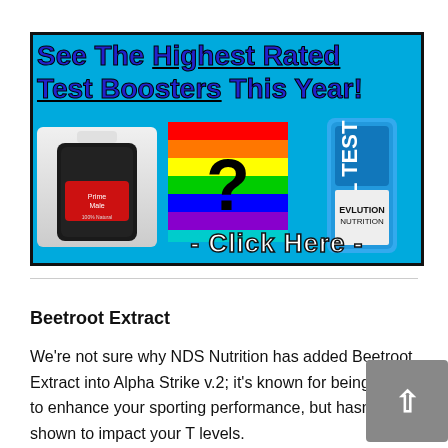[Figure (advertisement): Advertisement banner for testosterone boosters. Blue background with bold text 'See The Highest Rated Test Boosters This Year!' in purple/blue with underline. Shows product bottles: Prime Male on left, a rainbow question mark in center, EVL TEST on right. Bottom text says '- Click Here -' in white.]
Beetroot Extract
We're not sure why NDS Nutrition has added Beetroot Extract into Alpha Strike v.2; it's known for being able to enhance your sporting performance, but hasn't shown to impact your T levels.